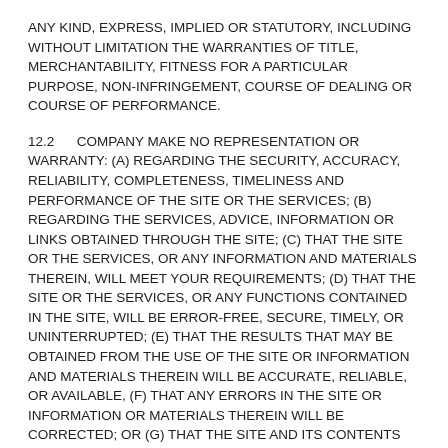ANY KIND, EXPRESS, IMPLIED OR STATUTORY, INCLUDING WITHOUT LIMITATION THE WARRANTIES OF TITLE, MERCHANTABILITY, FITNESS FOR A PARTICULAR PURPOSE, NON-INFRINGEMENT, COURSE OF DEALING OR COURSE OF PERFORMANCE.
12.2      COMPANY MAKE NO REPRESENTATION OR WARRANTY: (A) REGARDING THE SECURITY, ACCURACY, RELIABILITY, COMPLETENESS, TIMELINESS AND PERFORMANCE OF THE SITE OR THE SERVICES; (B) REGARDING THE SERVICES, ADVICE, INFORMATION OR LINKS OBTAINED THROUGH THE SITE; (C) THAT THE SITE OR THE SERVICES, OR ANY INFORMATION AND MATERIALS THEREIN, WILL MEET YOUR REQUIREMENTS; (D) THAT THE SITE OR THE SERVICES, OR ANY FUNCTIONS CONTAINED IN THE SITE, WILL BE ERROR-FREE, SECURE, TIMELY, OR UNINTERRUPTED; (E) THAT THE RESULTS THAT MAY BE OBTAINED FROM THE USE OF THE SITE OR INFORMATION AND MATERIALS THEREIN WILL BE ACCURATE, RELIABLE, OR AVAILABLE, (F) THAT ANY ERRORS IN THE SITE OR INFORMATION OR MATERIALS THEREIN WILL BE CORRECTED; OR (G) THAT THE SITE AND ITS CONTENTS AND SERVER THAT MAKES THE SITE AVAILABLE ARE FREE